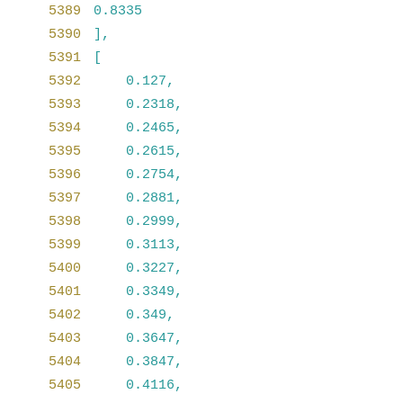5389    0.8335
5390    ],
5391    [
5392        0.127,
5393        0.2318,
5394        0.2465,
5395        0.2615,
5396        0.2754,
5397        0.2881,
5398        0.2999,
5399        0.3113,
5400        0.3227,
5401        0.3349,
5402        0.349,
5403        0.3647,
5404        0.3847,
5405        0.4116,
5406        0.4475,
5407        0.4949,
5408        0.5532,
5409        0.6278,
5410        0.72,